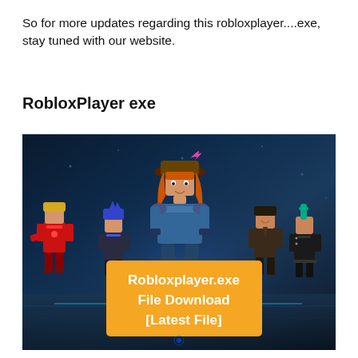So for more updates regarding this robloxplayer....exe, stay tuned with our website.
RobloxPlayer exe
[Figure (photo): Photo of five Roblox game characters standing together in a dark sci-fi scene. In the center foreground is an orange banner that reads 'Robloxplayer.exe File Download [Latest File]' in bold white text.]